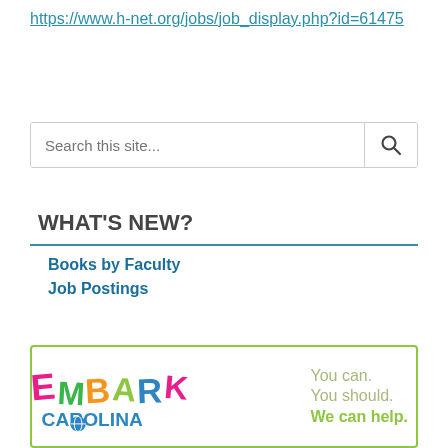https://www.h-net.org/jobs/job_display.php?id=61475
Search this site...
WHAT'S NEW?
Books by Faculty
Job Postings
[Figure (logo): Embark Carolina logo with tagline: You can. You should. We can help.]